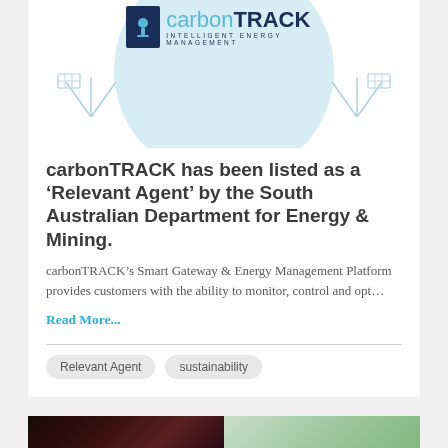[Figure (logo): carbonTRACK Intelligent Energy Management logo with blue circle background and solar panel illustrations]
carbonTRACK has been listed as a 'Relevant Agent' by the South Australian Department for Energy & Mining.
carbonTRACK's Smart Gateway & Energy Management Platform provides customers with the ability to monitor, control and opt…
Read More...
Relevant Agent
sustainability
[Figure (photo): Partial photo visible at bottom of page, dark tones on left, green tones on right]